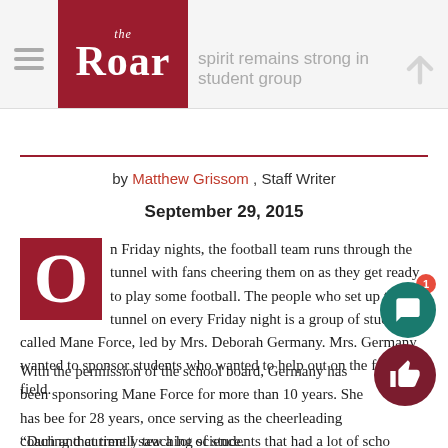the Roar — spirit declined, but spirit remains strong in student group
by Matthew Grissom , Staff Writer
September 29, 2015
On Friday nights, the football team runs through the tunnel with fans cheering them on as they get ready to play some football. The people who set up the tunnel on every Friday night is a group of students called Mane Force, led by Mrs. Deborah Germany. Mrs. Germany wanted to sponsor students who wanted to help out on the football field.
With the permission of the school board, Germany has been sponsoring Mane Force for more than 10 years. She has been for 28 years, once serving as the cheerleading coach and currently teaching science.
“During that time I saw a lot of students that had a lot of school spirit but they really had no avenue to show it,” Mrs. Germany said.